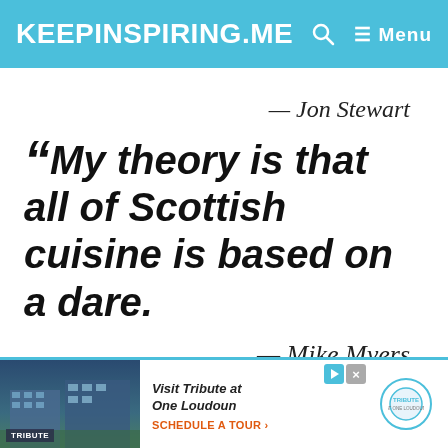KEEPINSPIRING.ME  🔍  ≡ Menu
— Jon Stewart
“My theory is that all of Scottish cuisine is based on a dare.
— Mike Myers
[Figure (screenshot): Advertisement banner for Tribute at One Loudoun with building photo, 'Visit Tribute at One Loudoun', 'SCHEDULE A TOUR ›', and Tribute logo]